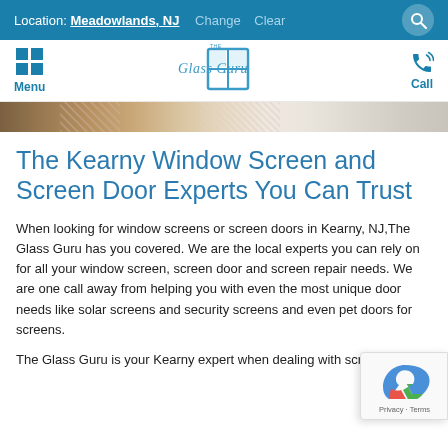Location: Meadowlands, NJ  Change  Clear
Menu  The Glass Guru  Call
[Figure (photo): Horizontal strip showing window screen mesh samples in various colors from brown to white]
The Kearny Window Screen and Screen Door Experts You Can Trust
When looking for window screens or screen doors in Kearny, NJ,The Glass Guru has you covered. We are the local experts you can rely on for all your window screen, screen door and screen repair needs. We are one call away from helping you with even the most unique door needs like solar screens and security screens and even pet doors for screens.
The Glass Guru is your Kearny expert when dealing with screen